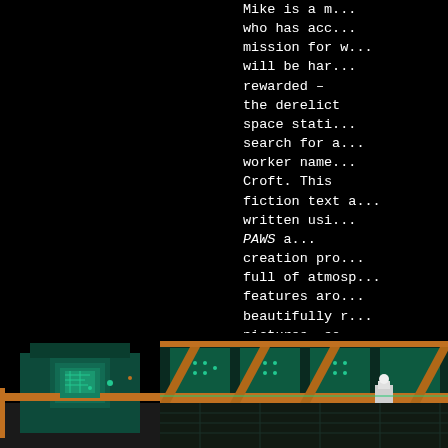Mike is a m... who has acc... mission for w... will be har... rewarded – the derelict space stati... search for a... worker name... Croft. This ... fiction text a... written usi... PAWS a... creation pro... full of atmosp... features aro... beautifully r... pictures, so... which important clue... are lat... f...
[Figure (screenshot): Pixel art / retro game screenshot showing a colorful sci-fi interior scene with teal, orange, and dark colors, resembling a derelict space station corridor.]